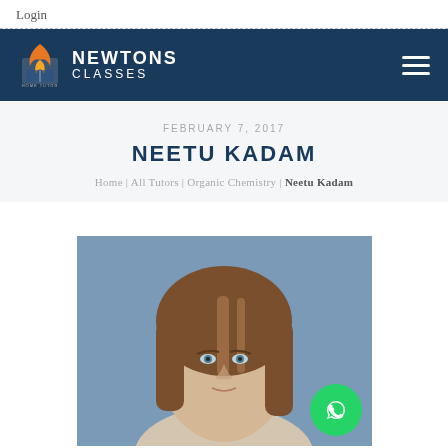Login
[Figure (logo): Newtons Classes logo with orange fox/book icon and white text on dark blue navigation bar]
FEBRUARY 7, 2017
NEETU KADAM
Home | All Tutors | Organic Chemistry | Neetu Kadam
[Figure (photo): Professional headshot of a woman with brown hair against a blue background]